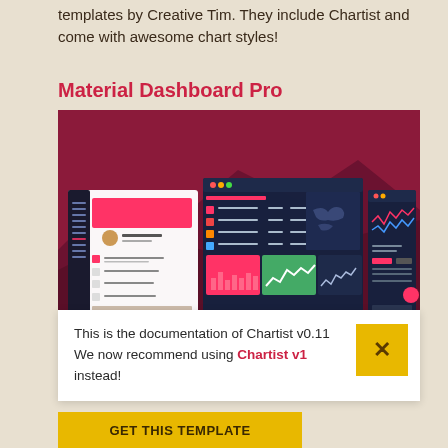templates by Creative Tim. They include Chartist and come with awesome chart styles!
Material Dashboard Pro
[Figure (screenshot): Screenshot of Material Dashboard Pro showing a dark-themed admin dashboard interface with pink/green charts, world map, and data tables]
This is the documentation of Chartist v0.11
We now recommend using Chartist v1 instead!
GET THIS TEMPLATE